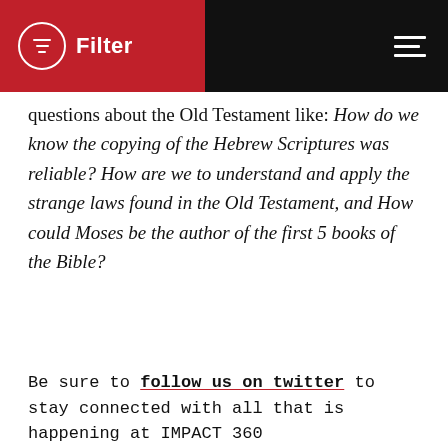Filter
questions about the Old Testament like: How do we know the copying of the Hebrew Scriptures was reliable? How are we to understand and apply the strange laws found in the Old Testament, and How could Moses be the author of the first 5 books of the Bible?
Be sure to follow us on twitter to stay connected with all that is happening at IMPACT 360